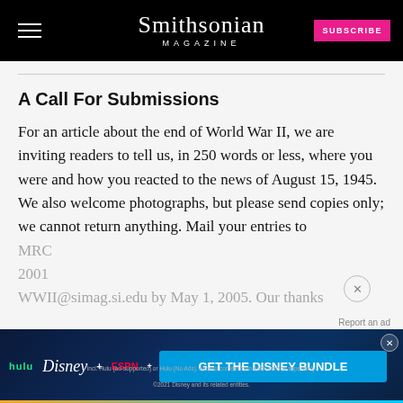Smithsonian MAGAZINE
A Call For Submissions
For an article about the end of World War II, we are inviting readers to tell us, in 250 words or less, where you were and how you reacted to the news of August 15, 1945. We also welcome photographs, but please send copies only; we cannot return anything. Mail your entries to MRC ... 2001 ... WWII@simag.si.edu by May 1, 2005. Our thanks
[Figure (other): Disney Bundle advertisement banner with Hulu, Disney+, and ESPN+ logos and GET THE DISNEY BUNDLE call-to-action button]